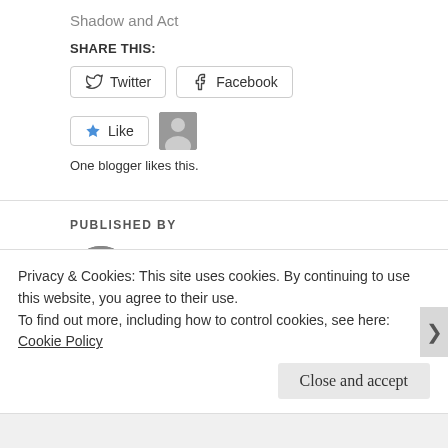Shadow and Act
SHARE THIS:
[Figure (screenshot): Twitter and Facebook share buttons]
[Figure (screenshot): Like button with star icon and a blogger avatar thumbnail]
One blogger likes this.
PUBLISHED BY
adamgfleming
The author lives in Goshen, Indiana with his wife and
Privacy & Cookies: This site uses cookies. By continuing to use this website, you agree to their use.
To find out more, including how to control cookies, see here: Cookie Policy
Close and accept